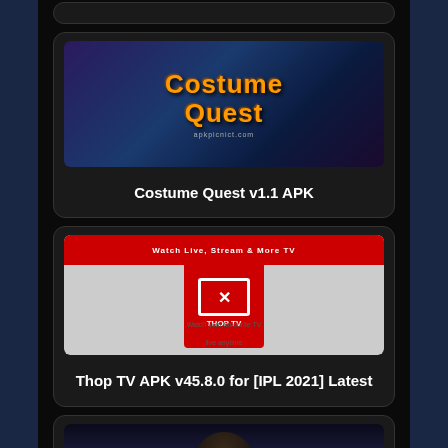[Figure (screenshot): Partial top of a card (cropped at top of page)]
[Figure (screenshot): Costume Quest v1.1 APK app card with game banner image showing cartoon characters and orange Costume Quest logo text]
Costume Quest v1.1 APK
[Figure (screenshot): Thop TV APK v45.8.0 for [IPL 2021] Latest app card with TV app logo on red and grey background]
Thop TV APK v45.8.0 for [IPL 2021] Latest
[Figure (screenshot): Hogwarts Mystery app card with dark fantasy game banner showing robed figure and Hogwarts Mystery logo (partially visible, card cut off at bottom)]